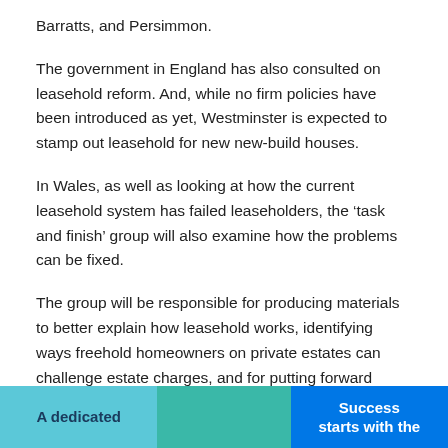Barratts, and Persimmon.
The government in England has also consulted on leasehold reform. And, while no firm policies have been introduced as yet, Westminster is expected to stamp out leasehold for new new-build houses.
In Wales, as well as looking at how the current leasehold system has failed leaseholders, the ‘task and finish’ group will also examine how the problems can be fixed.
The group will be responsible for producing materials to better explain how leasehold works, identifying ways freehold homeowners on private estates can challenge estate charges, and for putting forward proposals for a voluntary code of practice for management agents.
[Figure (other): Three colored boxes at the bottom of the page: left box in light blue with bold text 'A dedicated', middle box in teal/green with no visible text, right box in blue with bold white text 'Success starts with the']